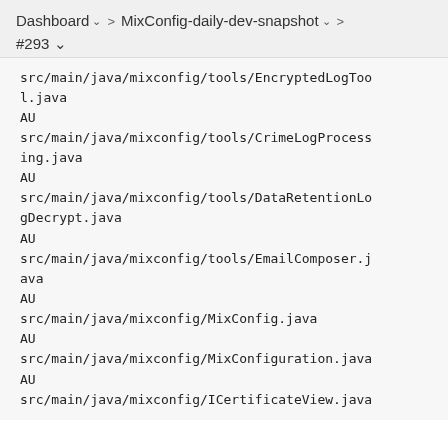Dashboard > MixConfig-daily-dev-snapshot > #293
src/main/java/mixconfig/tools/EncryptedLogTool
l.java
AU
src/main/java/mixconfig/tools/CrimeLogProcess
ing.java
AU
src/main/java/mixconfig/tools/DataRetentionLo
gDecrypt.java
AU
src/main/java/mixconfig/tools/EmailComposer.j
ava
AU
src/main/java/mixconfig/MixConfig.java
AU
src/main/java/mixconfig/MixConfiguration.java
AU
src/main/java/mixconfig/ICertificateView.java